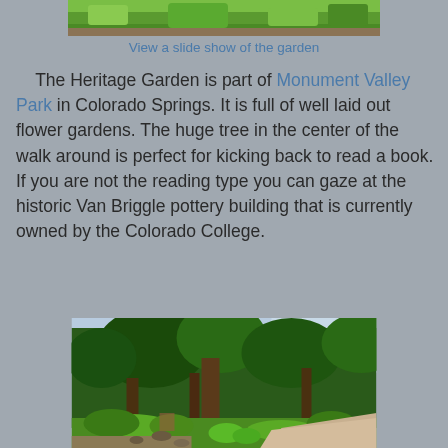[Figure (photo): Top portion of a garden/green grass photo, partially visible at top of page]
View a slide show of the garden
The Heritage Garden is part of Monument Valley Park in Colorado Springs. It is full of well laid out flower gardens. The huge tree in the center of the walk around is perfect for kicking back to read a book. If you are not the reading type you can gaze at the historic Van Briggle pottery building that is currently owned by the Colorado College.
[Figure (photo): Photograph of a garden path with large trees, green lawns, shrubs, and a gravel walkway at Heritage Garden in Monument Valley Park]
A little past the tree there is a squared off short brick wall with a sundial that accents the center. Around the sundial is